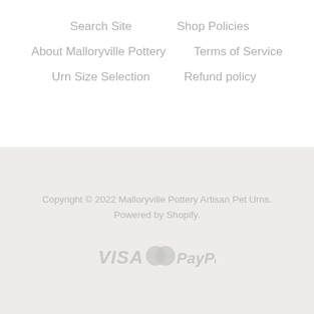Search Site
Shop Policies
About Malloryville Pottery
Terms of Service
Urn Size Selection
Refund policy
Copyright © 2022 Malloryville Pottery Artisan Pet Urns. Powered by Shopify.
[Figure (logo): Payment icons: VISA, Mastercard, PayPal in gray]